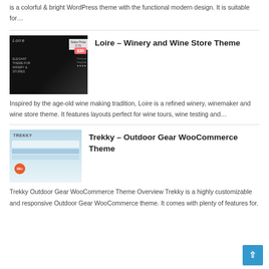is a colorful & bright WordPress theme with the functional modern design. It is suitable for...
[Figure (screenshot): Loire WordPress theme thumbnail showing dark elegant design with price tag $39]
Loire – Winery and Wine Store Theme
Inspired by the age-old wine making tradition, Loire is a refined winery, winemaker and wine store theme. It features layouts perfect for wine tours, wine testing and...
[Figure (screenshot): Trekky outdoor gear WooCommerce theme thumbnail with mountain/outdoor imagery]
Trekky – Outdoor Gear WooCommerce Theme
Trekky Outdoor Gear WooCommerce Theme Overview Trekky is a highly customizable and responsive Outdoor Gear WooCommerce theme. It comes with plenty of features for.